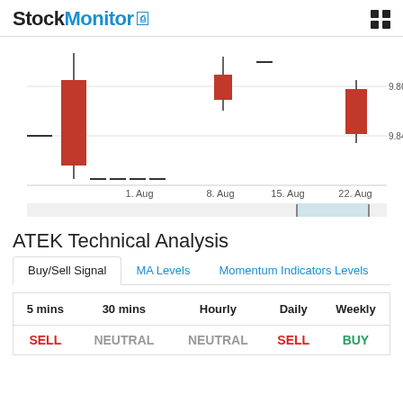StockMonitor
[Figure (continuous-plot): Candlestick chart for ATEK showing price action from March 2022 to August 2022. Y-axis shows prices around 9.84-9.86. Red candlesticks visible at start of August and end of August period. Range selector below shows full history from Mar '22 to Aug '22 with selected region highlighted in blue.]
ATEK Technical Analysis
Buy/Sell Signal | MA Levels | Momentum Indicators Levels
| 5 mins | 30 mins | Hourly | Daily | Weekly |
| --- | --- | --- | --- | --- |
| SELL | NEUTRAL | NEUTRAL | SELL | BUY |